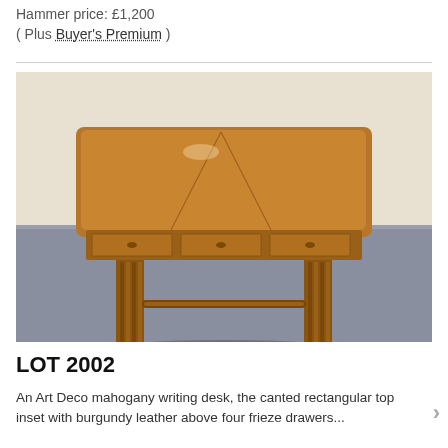Hammer price: £1,200
( Plus Buyer's Premium )
[Figure (photo): An Art Deco mahogany writing desk with canted rectangular top, three frieze drawers, central pillar support with fluted columns, and sledge feet connected by a stretcher. Photographed against a cream wall on a grey floor.]
LOT 2002
An Art Deco mahogany writing desk, the canted rectangular top inset with burgundy leather above four frieze drawers...